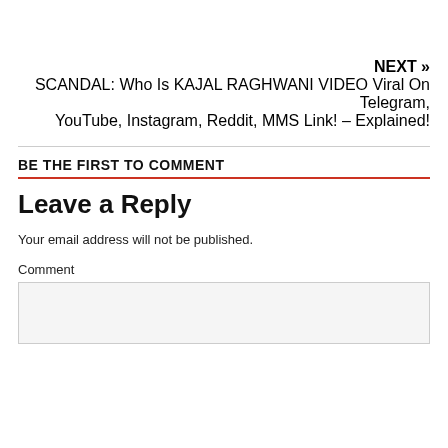NEXT » SCANDAL: Who Is KAJAL RAGHWANI VIDEO Viral On Telegram, YouTube, Instagram, Reddit, MMS Link! – Explained!
BE THE FIRST TO COMMENT
Leave a Reply
Your email address will not be published.
Comment